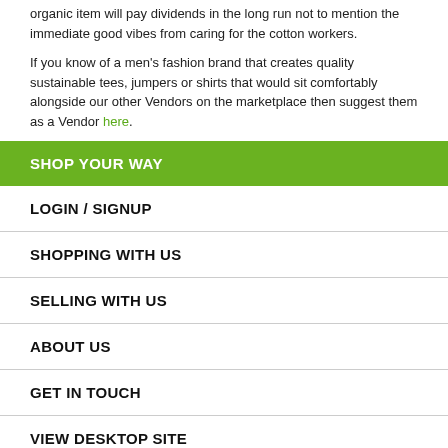organic item will pay dividends in the long run not to mention the immediate good vibes from caring for the cotton workers.
If you know of a men's fashion brand that creates quality sustainable tees, jumpers or shirts that would sit comfortably alongside our other Vendors on the marketplace then suggest them as a Vendor here.
SHOP YOUR WAY
LOGIN / SIGNUP
SHOPPING WITH US
SELLING WITH US
ABOUT US
GET IN TOUCH
VIEW DESKTOP SITE